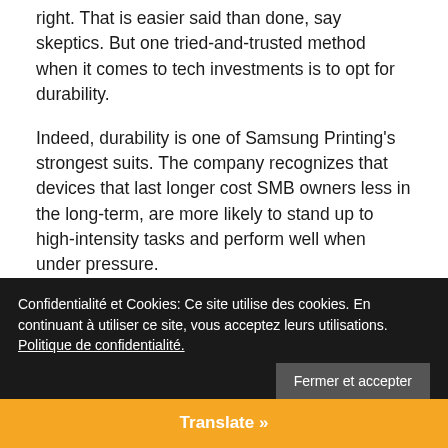right. That is easier said than done, say skeptics. But one tried-and-trusted method when it comes to tech investments is to opt for durability.
Indeed, durability is one of Samsung Printing's strongest suits. The company recognizes that devices that last longer cost SMB owners less in the long-term, are more likely to stand up to high-intensity tasks and perform well when under pressure.
In fact, even in the unforgiving heat and humidity of summer, when other printers often succumb to jams, Samsung printing hardware is built to perform. Even high-volume users attest that Samsung printers let you keep your cool, even
Confidentialité et Cookies: Ce site utilise des cookies. En continuant à utiliser ce site, vous acceptez leurs utilisations. Politique de confidentialité.
Fermer et accepter
Translate »